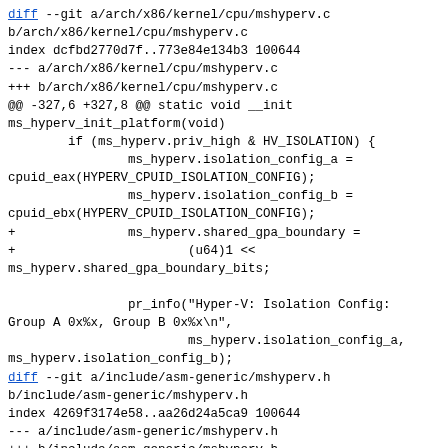diff --git a/arch/x86/kernel/cpu/mshyperv.c b/arch/x86/kernel/cpu/mshyperv.c
index dcfbd2770d7f..773e84e134b3 100644
--- a/arch/x86/kernel/cpu/mshyperv.c
+++ b/arch/x86/kernel/cpu/mshyperv.c
@@ -327,6 +327,8 @@ static void __init ms_hyperv_init_platform(void)
        if (ms_hyperv.priv_high & HV_ISOLATION) {
                ms_hyperv.isolation_config_a =
cpuid_eax(HYPERV_CPUID_ISOLATION_CONFIG);
                ms_hyperv.isolation_config_b =
cpuid_ebx(HYPERV_CPUID_ISOLATION_CONFIG);
+               ms_hyperv.shared_gpa_boundary =
+                       (u64)1 <<
ms_hyperv.shared_gpa_boundary_bits;

                pr_info("Hyper-V: Isolation Config:
Group A 0x%x, Group B 0x%x\n",
                        ms_hyperv.isolation_config_a,
ms_hyperv.isolation_config_b);
diff --git a/include/asm-generic/mshyperv.h b/include/asm-generic/mshyperv.h
index 4269f3174e58..aa26d24a5ca9 100644
--- a/include/asm-generic/mshyperv.h
+++ b/include/asm-generic/mshyperv.h
@@ -35,8 +35,18 @@ struct ms_hyperv_info {
        u32 max_vp_index;
        u32 max_lp_index;
        u32 isolation_config_a;
-       u32 isolation_config_b;